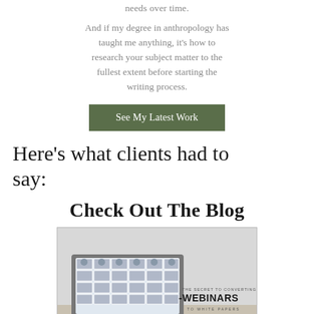needs over time.
And if my degree in anthropology has taught me anything, it's how to research your subject matter to the fullest extent before starting the writing process.
See My Latest Work
Here's what clients had to say:
Check Out The Blog
[Figure (illustration): Blog post thumbnail image showing a laptop with a video conference grid of participants on screen, overlaid with text reading 'THE SECRET TO CONVERTING WEBINARS TO WHITE PAPERS']